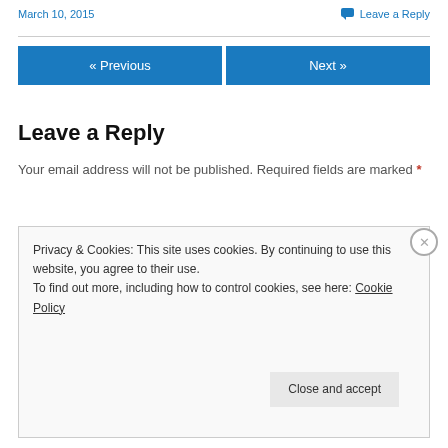March 10, 2015
Leave a Reply
« Previous
Next »
Leave a Reply
Your email address will not be published. Required fields are marked *
Privacy & Cookies: This site uses cookies. By continuing to use this website, you agree to their use.
To find out more, including how to control cookies, see here: Cookie Policy
Close and accept